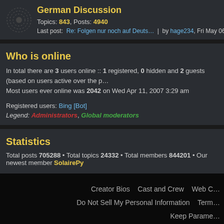German Discussion
Topics: 843, Posts: 4940
Last post: Re: Folgen nur noch auf Deuts… | by hage234, Fri May 06, 2022 10:19 am
Who is online
In total there are 3 users online :: 1 registered, 0 hidden and 2 guests (based on users active over the p…
Most users ever online was 2042 on Wed Apr 11, 2007 3:29 am
Registered users: Bing [Bot]
Legend: Administrators, Global moderators
Statistics
Total posts 705288 • Total topics 24332 • Total members 844201 • Our newest member SolairePy
Creator Bios   Cast and Crew   Web C…   Do Not Sell My Personal Information   Term…   Keep Parame…